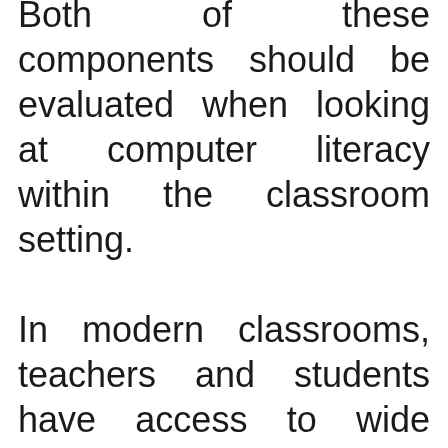Both of these components should be evaluated when looking at computer literacy within the classroom setting. In modern classrooms, teachers and students have access to wide variety of technology. Various types of technology including